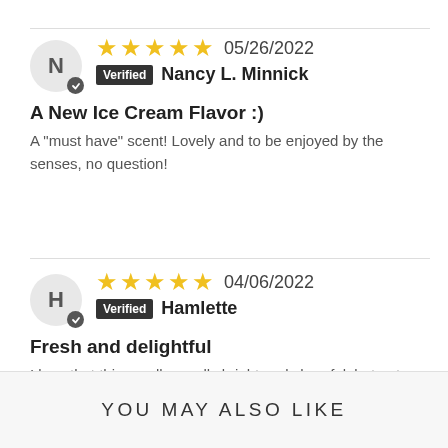★★★★★ 05/26/2022 Verified Nancy L. Minnick
A New Ice Cream Flavor :)
A "must have" scent! Lovely and to be enjoyed by the senses, no question!
★★★★★ 04/06/2022 Verified Hamlette
Fresh and delightful
I love that this candle smells bright and cheerful, but not terribly sweet.
YOU MAY ALSO LIKE